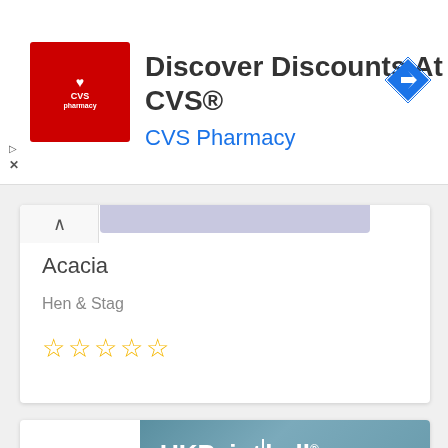[Figure (screenshot): CVS Pharmacy advertisement banner with logo, 'Discover Discounts At CVS®' title, 'CVS Pharmacy' subtitle in blue, and navigation arrow icon]
Acacia
Hen & Stag
[Figure (other): Five empty star rating icons in orange/yellow]
[Figure (photo): UK Paintball promotional image with logo text 'UKPaintball® Service, Premier Parks, Unrivalled Fun']
UK Paintball
[Figure (other): Google reCAPTCHA badge with Privacy and Terms links]